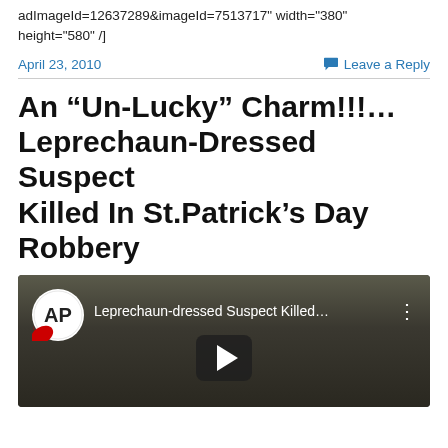adImageId=12637289&imageId=7513717" width="380" height="580" /]
April 23, 2010   Leave a Reply
An “Un-Lucky” Charm!!!... Leprechaun-Dressed Suspect Killed In St.Patrick’s Day Robbery
[Figure (screenshot): AP video thumbnail showing 'Leprechaun-dressed Suspect Killed...' with AP logo and play button]